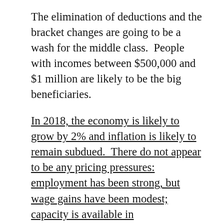The elimination of deductions and the bracket changes are going to be a wash for the middle class.  People with incomes between $500,000 and $1 million are likely to be the big beneficiaries.
In 2018, the economy is likely to grow by 2% and inflation is likely to remain subdued.  There do not appear to be any pricing pressures: employment has been strong, but wage gains have been modest; capacity is available in manufacturing; commodity prices have shown only modest gains.  Look for a relatively flat yield curve with long rates coming down ¼-1/2 point to 2½% or so on the long treasury.  The stock bubble is going to burst in advance of a recession in 2019 which is likely as productivity gains and